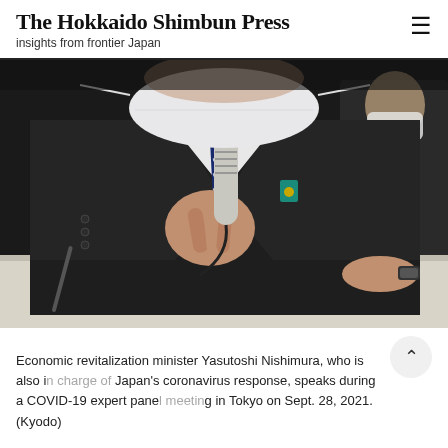The Hokkaido Shimbun Press
insights from frontier Japan
[Figure (photo): A person in a dark suit wearing a white face mask and a teal lapel pin, holding a microphone and speaking at a panel meeting. Documents with Japanese text are visible on the table in front of them. Another masked person is partially visible in the background.]
Economic revitalization minister Yasutoshi Nishimura, who is also in charge of Japan's coronavirus response, speaks during a COVID-19 expert panel meeting in Tokyo on Sept. 28, 2021. (Kyodo)